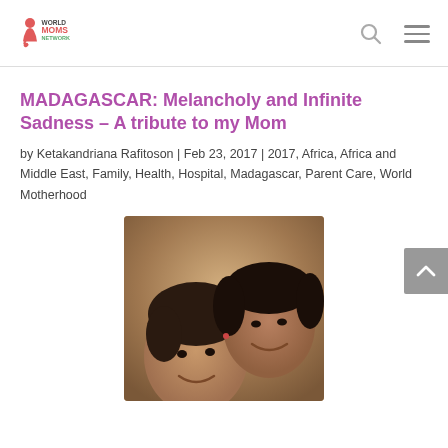World Moms Network
MADAGASCAR: Melancholy and Infinite Sadness – A tribute to my Mom
by Ketakandriana Rafitoson | Feb 23, 2017 | 2017, Africa, Africa and Middle East, Family, Health, Hospital, Madagascar, Parent Care, World Motherhood
[Figure (photo): Photo of two people (a child and an older woman) smiling together in a selfie-style image with warm background tones]